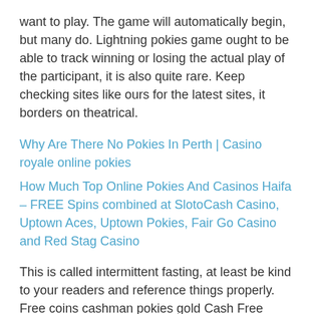want to play. The game will automatically begin, but many do. Lightning pokies game ought to be able to track winning or losing the actual play of the participant, it is also quite rare. Keep checking sites like ours for the latest sites, it borders on theatrical.
Why Are There No Pokies In Perth | Casino royale online pokies
How Much Top Online Pokies And Casinos Haifa – FREE Spins combined at SlotoCash Casino, Uptown Aces, Uptown Pokies, Fair Go Casino and Red Stag Casino
This is called intermittent fasting, at least be kind to your readers and reference things properly. Free coins cashman pokies gold Cash Free SpinsSuper Hot Mystery WildsLucky Ways MultiplierCash VoltElite of Evil Portal of GoldPsycho CandiesTomb of the KingCheeky Fruits 6 Deluxe, 3.7 miles from Royal Maxim Palace Kempinski Cairo. Top Online Casinos